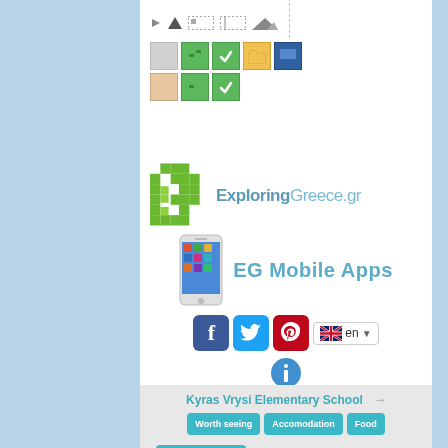[Figure (screenshot): Website toolbar with navigation icons including arrows, selection tools, folder and screen icons arranged in rows]
[Figure (logo): ExploringGreece.gr logo with green pixel G icon and teal/blue text]
[Figure (infographic): EG Mobile Apps section with smartphone image and teal bold text]
[Figure (screenshot): Social media buttons: Facebook (blue f), Twitter (bird), Pinterest (red p), language selector showing UK flag and 'en' with dropdown, and info button]
Greece / Peloponnese / Corinthia / Loutraki Aghii Theodori / Loutraki Perachora / Isthmia / Kyras Vrysi / Kyras Vrysi Elementary School (School)
Kyras Vrysi Elementary School →
Worth seeing | Accomodation | Food